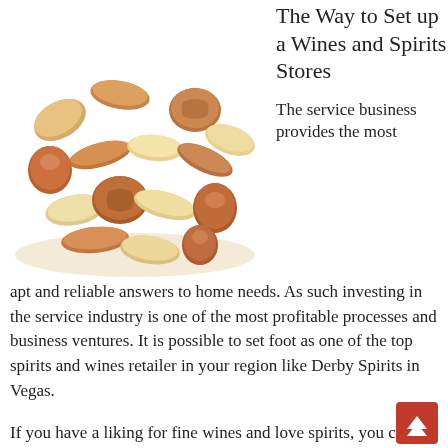[Figure (photo): A pile of mixed nuts including almonds, cashews, hazelnuts, and walnuts on a white background]
The Way to Set up a Wines and Spirits Stores
The service business provides the most apt and reliable answers to home needs. As such investing in the service industry is one of the most profitable processes and business ventures. It is possible to set foot as one of the top spirits and wines retailer in your region like Derby Spirits in Vegas.
If you have a liking for fine wines and love spirits, you can consider turning this to a business. The advantages that come with wines' health advantages have led to numerous wines and spirits shops around the country. There's a rising number of